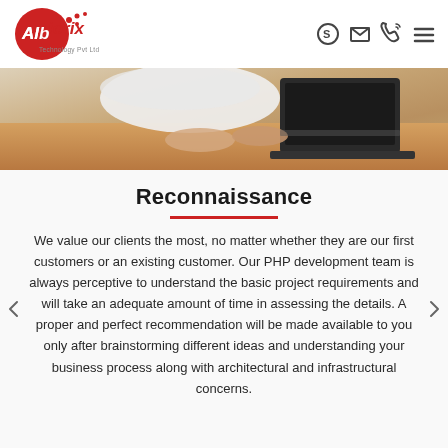Albiorix Technology Pvt Ltd — Navigation header with logo and icons
[Figure (photo): Person working at a desk with a laptop, close-up view from above showing hands on keyboard and wooden desk surface]
Reconnaissance
We value our clients the most, no matter whether they are our first customers or an existing customer. Our PHP development team is always perceptive to understand the basic project requirements and will take an adequate amount of time in assessing the details. A proper and perfect recommendation will be made available to you only after brainstorming different ideas and understanding your business process along with architectural and infrastructural concerns.